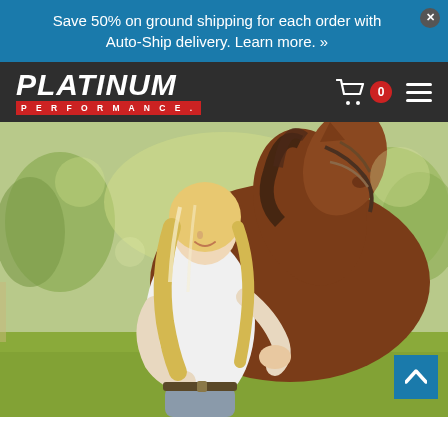Save 50% on ground shipping for each order with Auto-Ship delivery. Learn more. »
[Figure (logo): Platinum Performance logo — white italic text 'PLATINUM' with red bar reading 'PERFORMANCE' below]
[Figure (photo): Woman with long blonde hair wearing a white long-sleeve top and grey riding pants smiling while embracing a brown/chestnut horse with a bridle, outdoors on a green grassy field with trees in the background]